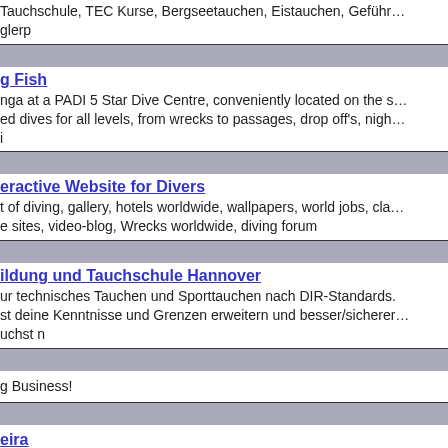Tauchschule, TEC Kurse, Bergseetauchen, Eistauchen, Geführ…
glerp
g Fish
nga at a PADI 5 Star Dive Centre, conveniently located on the s…
ed dives for all levels, from wrecks to passages, drop off's, nigh…
i
eractive Website for Divers
t of diving, gallery, hotels worldwide, wallpapers, world jobs, cla…
e sites, video-blog, Wrecks worldwide, diving forum
ildung und Tauchschule Hannover
ur technisches Tauchen und Sporttauchen nach DIR-Standards.
st deine Kenntnisse und Grenzen erweitern und besser/sicherer…
uchst n
g Business!
eira